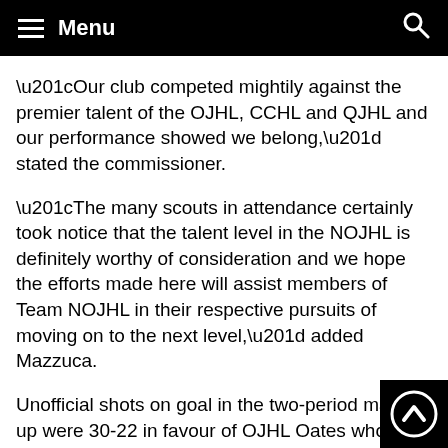Menu
“Our club competed mightily against the premier talent of the OJHL, CCHL and QJHL and our performance showed we belong,” stated the commissioner.
“The many scouts in attendance certainly took notice that the talent level in the NOJHL is definitely worthy of consideration and we hope the efforts made here will assist members of Team NOJHL in their respective pursuits of moving on to the next level,” added Mazzuca.
Unofficial shots on goal in the two-period match-up were 30-22 in favour of OJHL Oates who will now meet OJHL Nieuwendyk in the championship game at 6 p.m. back in Toronto.
Nieuwendyk edged the Quebec Junior Hockey Leag…